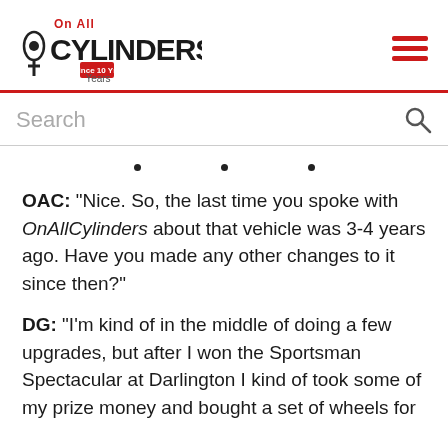On All Cylinders — 10 Years logo and hamburger menu
Search
• • •
OAC: “Nice. So, the last time you spoke with OnAllCylinders about that vehicle was 3-4 years ago. Have you made any other changes to it since then?”
DG: “I’m kind of in the middle of doing a few upgrades, but after I won the Sportsman Spectacular at Darlington I kind of took some of my prize money and bought a set of wheels for